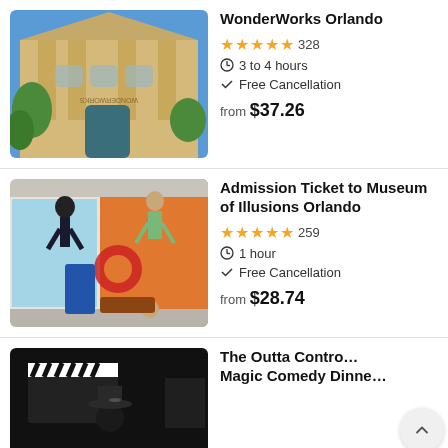[Figure (photo): WonderWorks Orlando building exterior, upside-down architecture with columns, yellow facade]
WonderWorks Orlando
★★★★½ 328
3 to 4 hours
Free Cancellation
from $37.26
[Figure (photo): Museum of Illusions Orlando interior with people appearing to hang from ceiling, orange and white room]
Admission Ticket to Museum of Illusions Orlando
★★★★★ 259
1 hour
Free Cancellation
from $28.74
[Figure (photo): Dark photo of person with clapperboard, partial view]
The Outta Control Magic Comedy Dinner Show Orlando